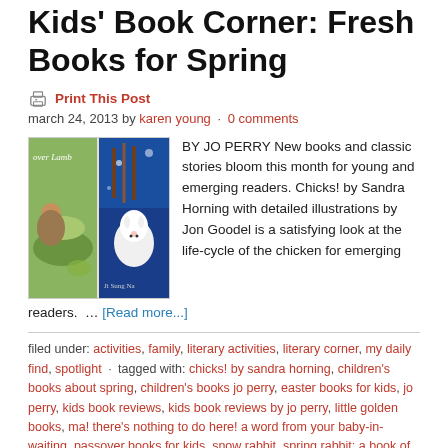Kids' Book Corner: Fresh Books for Spring
Print This Post
march 24, 2013 by karen young · 0 comments
[Figure (photo): Two children's book covers side by side: left shows a green pastoral scene with text 'over Lamb', right shows a blue snowy scene with a white rabbit]
BY JO PERRY New books and classic stories bloom this month for young and emerging readers. Chicks! by Sandra Horning with detailed illustrations by Jon Goodel is a satisfying look at the life-cycle of the chicken for emerging readers.  … [Read more...]
filed under: activities, family, literary activities, literary corner, my daily find, spotlight · tagged with: chicks! by sandra horning, children's books about spring, children's books jo perry, easter books for kids, jo perry, kids book reviews, kids book reviews by jo perry, little golden books, ma! there's nothing to do here! a word from your baby-in-waiting, passover books for kids, snow rabbit, spring rabbit: a book of